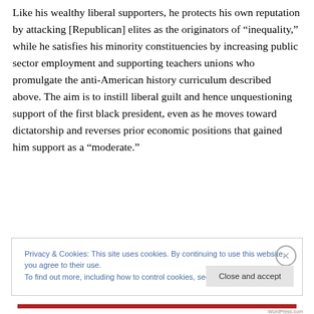Like his wealthy liberal supporters, he protects his own reputation by attacking [Republican] elites as the originators of “inequality,” while he satisfies his minority constituencies by increasing public sector employment and supporting teachers unions who promulgate the anti-American history curriculum described above. The aim is to instill liberal guilt and hence unquestioning support of the first black president, even as he moves toward dictatorship and reverses prior economic positions that gained him support as a “moderate.”
Privacy & Cookies: This site uses cookies. By continuing to use this website, you agree to their use.
To find out more, including how to control cookies, see here: Cookie Policy